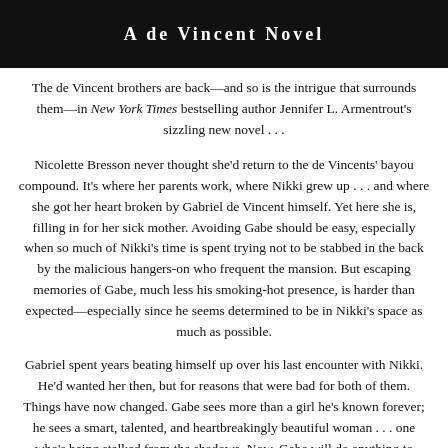[Figure (illustration): Black banner with text 'A de Vincent Novel' in white bold serif letters]
The de Vincent brothers are back—and so is the intrigue that surrounds them—in New York Times bestselling author Jennifer L. Armentrout's sizzling new novel . . .
Nicolette Bresson never thought she'd return to the de Vincents' bayou compound. It's where her parents work, where Nikki grew up . . . and where she got her heart broken by Gabriel de Vincent himself. Yet here she is, filling in for her sick mother. Avoiding Gabe should be easy, especially when so much of Nikki's time is spent trying not to be stabbed in the back by the malicious hangers-on who frequent the mansion. But escaping memories of Gabe, much less his smoking-hot presence, is harder than expected—especially since he seems determined to be in Nikki's space as much as possible.
Gabriel spent years beating himself up over his last encounter with Nikki. He'd wanted her then, but for reasons that were bad for both of them. Things have now changed. Gabe sees more than a girl he's known forever; he sees a smart, talented, and heartbreakingly beautiful woman . . . one who's being stalked from the shadows. Now, Gabe will do anything to keep Nikki